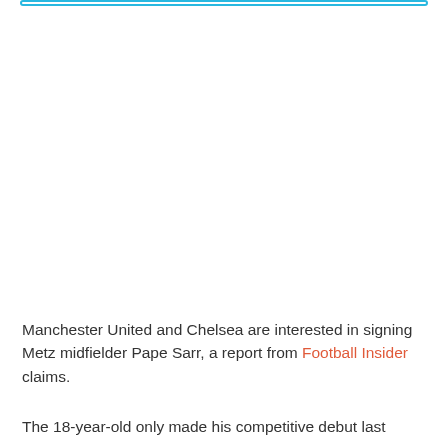[Figure (other): Decorative top blue border bar element]
Manchester United and Chelsea are interested in signing Metz midfielder Pape Sarr, a report from Football Insider claims.
The 18-year-old only made his competitive debut last